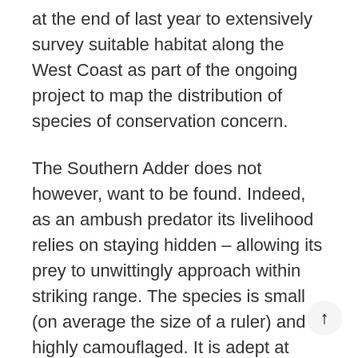at the end of last year to extensively survey suitable habitat along the West Coast as part of the ongoing project to map the distribution of species of conservation concern.
The Southern Adder does not however, want to be found. Indeed, as an ambush predator its livelihood relies on staying hidden – allowing its prey to unwittingly approach within striking range. The species is small (on average the size of a ruler) and highly camouflaged. It is adept at both lying motionless, half covered in sand, and climbing shrubs to seek refuge in the branches. During our week of active searching, trekking for kilometres through sandy soils and prickly Strandveld, we